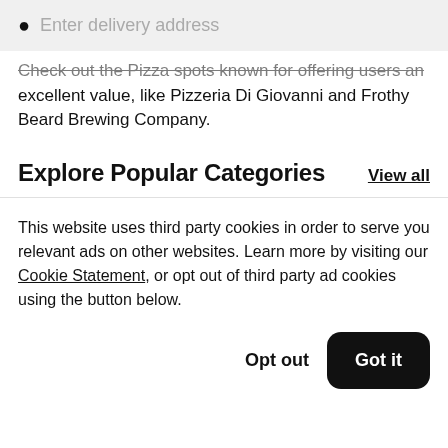Enter delivery address
Check out the Pizza spots known for offering users an excellent value, like Pizzeria Di Giovanni and Frothy Beard Brewing Company.
Explore Popular Categories
View all
This website uses third party cookies in order to serve you relevant ads on other websites. Learn more by visiting our Cookie Statement, or opt out of third party ad cookies using the button below.
Opt out
Got it